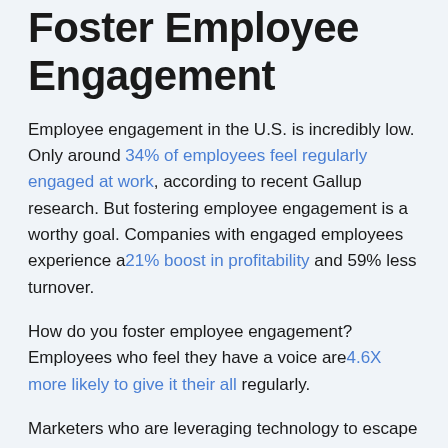Foster Employee Engagement
Employee engagement in the U.S. is incredibly low. Only around 34% of employees feel regularly engaged at work, according to recent Gallup research. But fostering employee engagement is a worthy goal. Companies with engaged employees experience a21% boost in profitability and 59% less turnover.
How do you foster employee engagement? Employees who feel they have a voice are4.6X more likely to give it their all regularly.
Marketers who are leveraging technology to escape survival mode are experiencing this phenomenon. They’re building a community that employees choose to be a part of, so they’re not just there for a paycheck or because “it’s their job”.